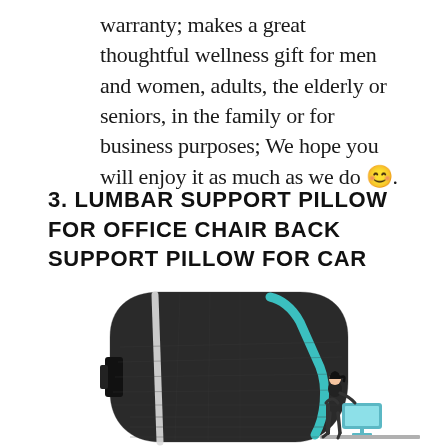warranty; makes a great thoughtful wellness gift for men and women, adults, the elderly or seniors, in the family or for business purposes; We hope you will enjoy it as much as we do 😊.
3. LUMBAR SUPPORT PILLOW FOR OFFICE CHAIR BACK SUPPORT PILLOW FOR CAR
[Figure (photo): Product photo of a black lumbar support pillow with teal accent stripe and white trim, shown upright. To the right bottom corner, a small illustration of a person sitting at a desk with a computer monitor.]